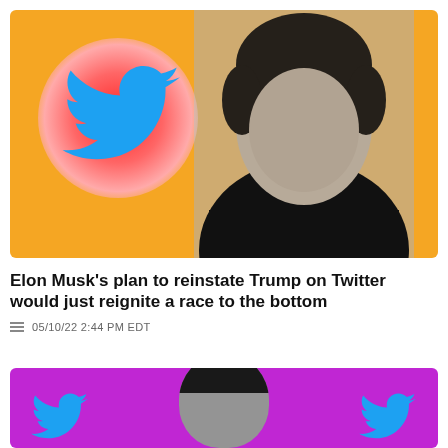[Figure (photo): Illustration of Elon Musk in grayscale against an orange background with Twitter bird logos, one inside a red glowing circle]
Elon Musk’s plan to reinstate Trump on Twitter would just reignite a race to the bottom
05/10/22 2:44 PM EDT
[Figure (photo): Illustration of a person against a magenta/purple background with Twitter bird logos]